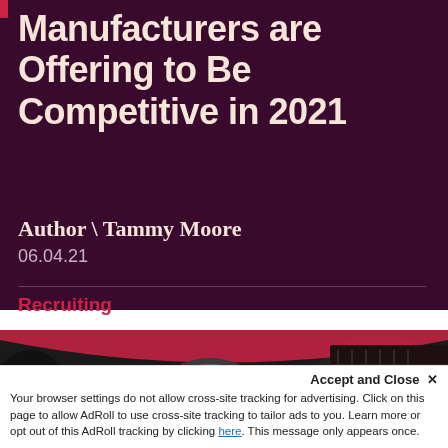Manufacturers are Offering to Be Competitive in 2021
Author \ Tammy Moore
06.04.21
Recruiting
[Figure (photo): Close-up of industrial machinery — turbine or grinding wheel with metallic components, dark blurred factory background]
Accept and Close ×
Your browser settings do not allow cross-site tracking for advertising. Click on this page to allow AdRoll to use cross-site tracking to tailor ads to you. Learn more or opt out of this AdRoll tracking by clicking here. This message only appears once.